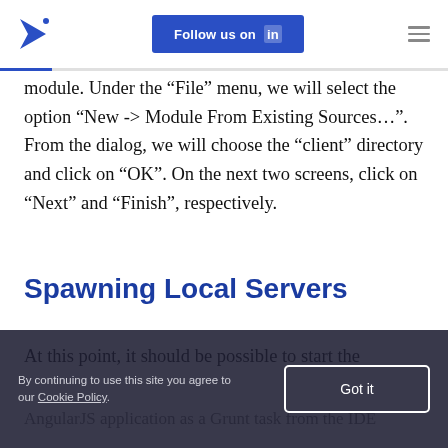Follow us on LinkedIn
module. Under the “File” menu, we will select the option “New -> Module From Existing Sources…”. From the dialog, we will choose the “client” directory and click on “OK”. On the next two screens, click on “Next” and “Finish”, respectively.
Spawning Local Servers
At this point, it should be possible to start the AngularJS application as a Grunt task from the IDE...
By continuing to use this site you agree to our Cookie Policy. Got it